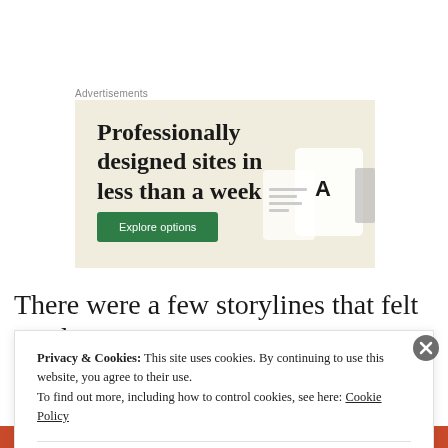Advertisements
[Figure (other): Advertisement banner with beige background reading 'Professionally designed sites in less than a week' with a green 'Explore options' button and device mockups on the right]
There were a few storylines that felt a tad
Privacy & Cookies: This site uses cookies. By continuing to use this website, you agree to their use.
To find out more, including how to control cookies, see here: Cookie Policy

Close and accept